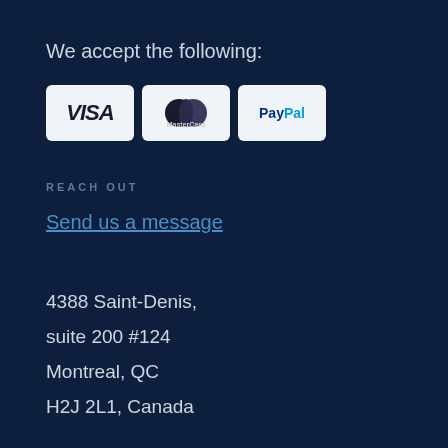We accept the following:
[Figure (logo): Payment method icons: VISA, MasterCard, PayPal on light rounded-rectangle badges]
REACH OUT
Send us a message
4388 Saint-Denis,
suite 200 #124
Montreal, QC
H2J 2L1, Canada